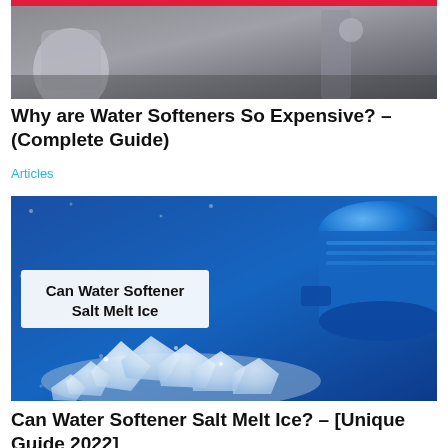[Figure (photo): Photo of a water softener machine, partially cropped, with a red bar at the top]
Why are Water Softeners So Expensive? – (Complete Guide)
Articles
[Figure (photo): Photo of water softener salt crystals spilling from a blue filter canister on a blue background, with text overlay reading 'Can Water Softener Salt Melt Ice']
Can Water Softener Salt Melt Ice? – [Unique Guide 2022]
Articles